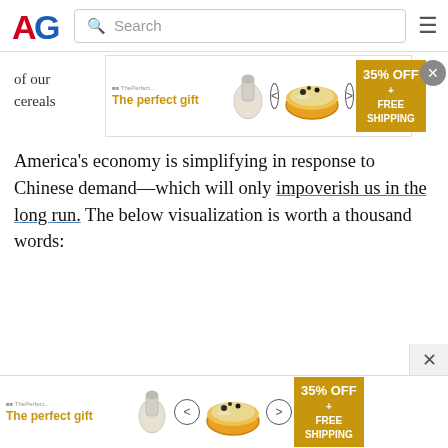AG [logo] | Search bar | Hamburger menu
[Figure (screenshot): Advertisement banner: 'The perfect gift' with food product images, navigation arrows, and '35% OFF + FREE SHIPPING' call-to-action button. Close (X) button on right.]
of our ... ls like cereals...
America's economy is simplifying in response to Chinese demand—which will only impoverish us in the long run. The below visualization is worth a thousand words:
[Figure (screenshot): Second advertisement banner at bottom: 'The perfect gift' with food product images, navigation arrows, and '35% OFF + FREE SHIPPING' call-to-action.]